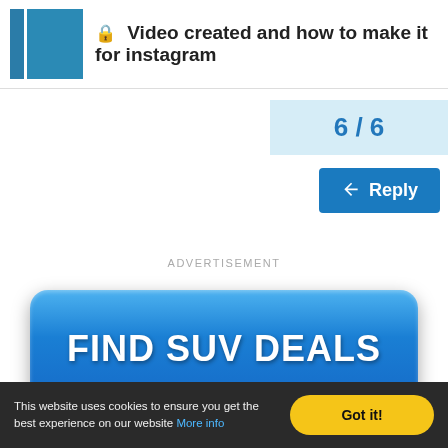Video created and how to make it for instagram
6 / 6
Reply
ADVERTISEMENT
[Figure (other): Large blue rounded button with text FIND SUV DEALS]
This website uses cookies to ensure you get the best experience on our website More info Got it!